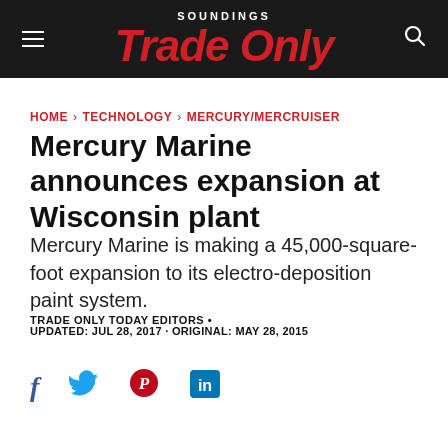SOUNDINGS Trade Only
HOME > TECHNOLOGY > MERCURY/MERCRUISER
Mercury Marine announces expansion at Wisconsin plant
Mercury Marine is making a 45,000-square-foot expansion to its electro-deposition paint system.
TRADE ONLY TODAY EDITORS •
UPDATED: JUL 28, 2017 · ORIGINAL: MAY 28, 2015
[Figure (other): Social media sharing icons: Facebook, Twitter, Pinterest, LinkedIn]